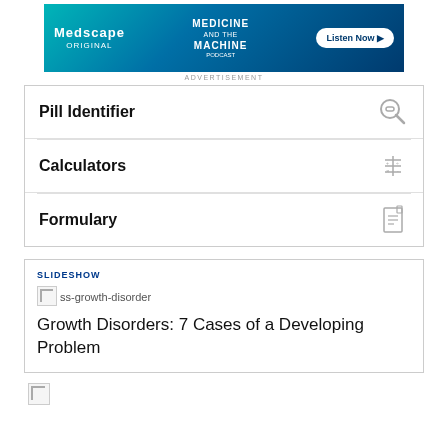[Figure (screenshot): Medscape advertisement banner for 'Medicine and the Machine' podcast with Listen Now button]
ADVERTISEMENT
Pill Identifier
Calculators
Formulary
SLIDESHOW
[Figure (other): Broken image placeholder for ss-growth-disorder]
Growth Disorders: 7 Cases of a Developing Problem
[Figure (other): Broken image placeholder at bottom of page]